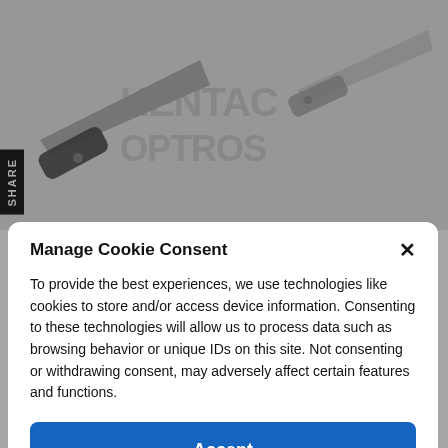[Figure (screenshot): Background screenshot of a knife product page with two folding knives displayed side by side. A SHARE tab is visible on the left side. A watermark logo is visible over the images.]
Manage Cookie Consent
To provide the best experiences, we use technologies like cookies to store and/or access device information. Consenting to these technologies will allow us to process data such as browsing behavior or unique IDs on this site. Not consenting or withdrawing consent, may adversely affect certain features and functions.
Accept
Cookie Policy  Privacy Policy